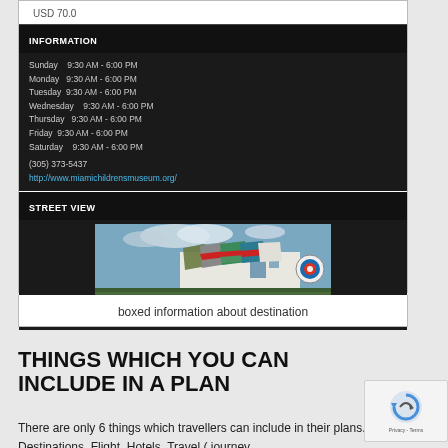[Figure (screenshot): Mobile app screenshot showing an INFORMATION panel with hours (Sunday-Saturday 9:30 AM - 6:00 PM), phone (305) 373-5437, website link http://www.miamichildrensmuseum.org/, and a STREET VIEW panel showing a colorful building with flags, plus a mobile navigation bar at the bottom. USD 70.0 visible at top.]
boxed information about destination
THINGS WHICH YOU CAN INCLUDE IN A PLAN
There are only 6 things which travellers can include in their plans. Destinations. Flight. Hotels. Travel ( journey